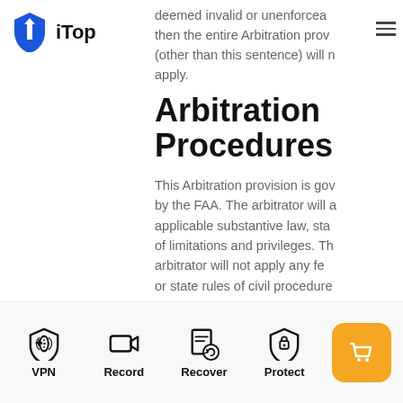[Figure (logo): iTop logo: blue shield/arrow icon with text 'iTop']
deemed invalid or unenforceable, then the entire Arbitration provision (other than this sentence) will not apply.
Arbitration Procedures
This Arbitration provision is governed by the FAA. The arbitrator will apply applicable substantive law, statutes of limitations and privileges. The arbitrator will not apply any federal or state rules of civil procedure or evidence in matters relating to evidence or discovery. Subject
[Figure (infographic): Bottom navigation bar with icons: VPN (shield with arrow), Record (camera), Recover (document with refresh), Protect (shield with lock), and orange cart button]